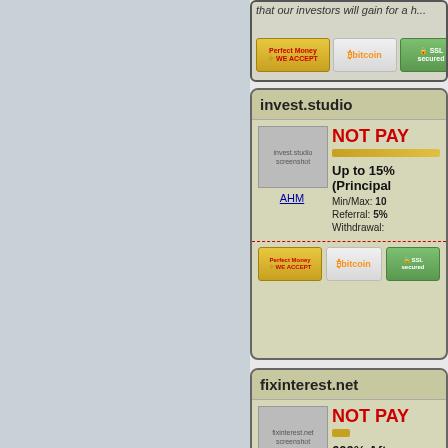that our investors will gain for a h...
[Figure (screenshot): Payment badges: Perfect Money, Bitcoin, SSL secured (top card footer)]
invest.studio
[Figure (screenshot): invest.studio screenshot placeholder with AHM link]
NOT PAYING
Up to 15% (Principal...
Min/Max: 10
Referral: 5%
Withdrawal:
[Figure (screenshot): Payment badges: Perfect Money, Bitcoin, SSL secured (invest.studio footer)]
fixinterest.net
[Figure (screenshot): fixinterest.net screenshot placeholder with AHM link]
NOT PAYING
600% Afte...
Min/Max: 30
Referral: 3%
Withdrawal: